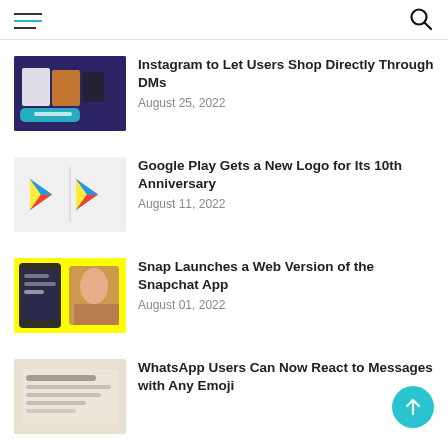Navigation header with hamburger menu and search icon
Instagram to Let Users Shop Directly Through DMs — August 25, 2022
Google Play Gets a New Logo for Its 10th Anniversary — August 11, 2022
Snap Launches a Web Version of the Snapchat App — August 01, 2022
WhatsApp Users Can Now React to Messages with Any Emoji